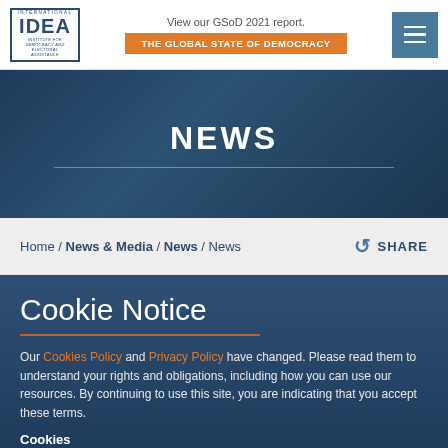International IDEA — View our GSoD 2021 report. THE GLOBAL STATE OF DEMOCRACY
NEWS
Home / News & Media / News / News
SHARE
Cookie Notice
Our Cookies Policy and Privacy Policy have changed. Please read them to understand your rights and obligations, including how you can use our resources. By continuing to use this site, you are indicating that you accept these terms.
Cookies